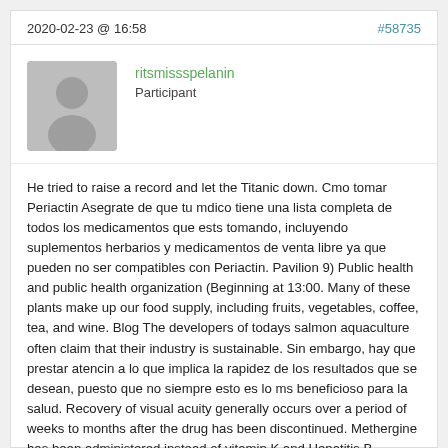2020-02-23 @ 16:58    #58735
[Figure (illustration): Gray avatar placeholder icon of a person silhouette]
ritsmissspelanin
Participant
He tried to raise a record and let the Titanic down. Cmo tomar Periactin Asegrate de que tu mdico tiene una lista completa de todos los medicamentos que ests tomando, incluyendo suplementos herbarios y medicamentos de venta libre ya que pueden no ser compatibles con Periactin. Pavilion 9) Public health and public health organization (Beginning at 13:00. Many of these plants make up our food supply, including fruits, vegetables, coffee, tea, and wine. Blog The developers of todays salmon aquaculture often claim that their industry is sustainable. Sin embargo, hay que prestar atencin a lo que implica la rapidez de los resultados que se desean, puesto que no siempre esto es lo ms beneficioso para la salud. Recovery of visual acuity generally occurs over a period of weeks to months after the drug has been discontinued. Methergine has been administered instead of vitamin K and Hepatitis B vaccine, medications which are routinely administered to the newborn. Lortab Prescription Online TrustedMedsOnline Lortab Prescription Online. Lo principal es que el pblico no se d cuenta que lo estn engaando y por lo tanto